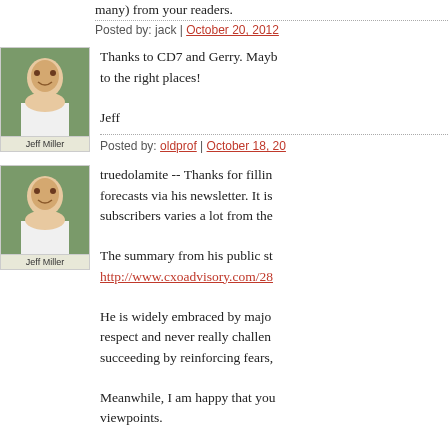many) from your readers.
Posted by: jack | October 20, 2012
[Figure (photo): Avatar photo of Jeff Miller]
Thanks to CD7 and Gerry. Maybe to the right places!
Jeff
Posted by: oldprof | October 18, 20...
[Figure (photo): Avatar photo of Jeff Miller]
truedolamite -- Thanks for filling... forecasts via his newsletter. It is... subscribers varies a lot from the...
The summary from his public st... http://www.cxoadvisory.com/28...
He is widely embraced by major... respect and never really challeng... succeeding by reinforcing fears,...
Meanwhile, I am happy that you... viewpoints.